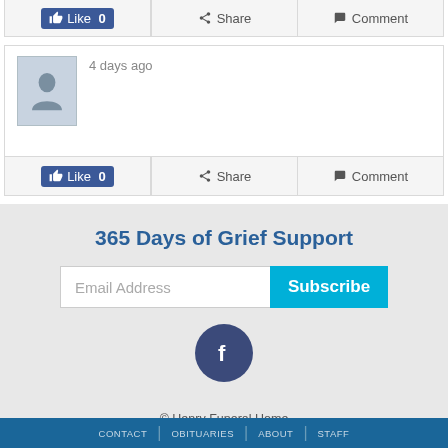[Figure (screenshot): Social post action bar with Like 0, Share, Comment buttons at top]
[Figure (screenshot): Social post card showing avatar placeholder and '4 days ago' timestamp, with Like 0, Share, Comment action bar]
365 Days of Grief Support
[Figure (other): Email subscription form with Email Address input and Subscribe button]
[Figure (logo): Facebook circular icon button]
© Henry Funeral Home
Website Designed by funeralOne
CONTACT | OBITUARIES | ABOUT | STAFF